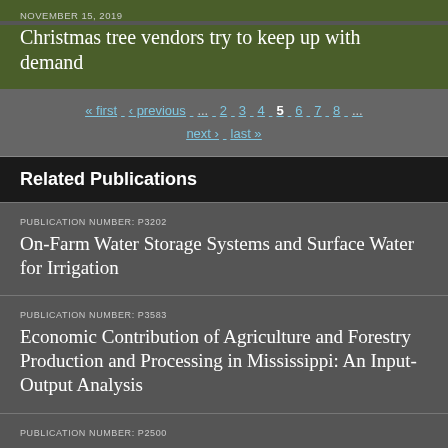NOVEMBER 15, 2019
Christmas tree vendors try to keep up with demand
« first ‹ previous ... 2 3 4 5 6 7 8 ... next › last »
Related Publications
PUBLICATION NUMBER: P3202
On-Farm Water Storage Systems and Surface Water for Irrigation
PUBLICATION NUMBER: P3583
Economic Contribution of Agriculture and Forestry Production and Processing in Mississippi: An Input-Output Analysis
PUBLICATION NUMBER: P2500
Inorganic Fertilizers For Crop Production